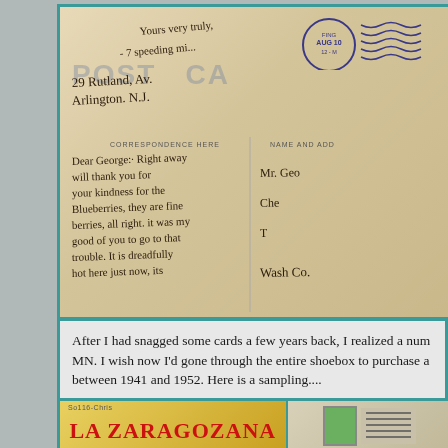[Figure (photo): Scan of the back of an antique postcard showing handwritten cursive text, a circular postmark dated AUG 10, 12-M, address lines '29 Rutland Av. / Arlington, N.J.', the printed labels 'CORRESPONDENCE HERE' and 'NAME AND ADD', a 'POST CARD' watermark, wavy cancel lines, and handwritten message beginning 'Dear George:· Right away will thank you for your kindness for the Blueberries, they are fine berries, all right. it was very good of you to go to that trouble. It is dreadfully hot here just now, its Wash Co.']
After I had snagged some cards a few years back, I realized a num MN. I wish now I'd gone through the entire shoebox to purchase a between 1941 and 1952. Here is a sampling....
[Figure (photo): Bottom portion showing two postcard images side by side: left card has handwritten notation 'So116-Chris' at top and shows a yellow/gold label reading 'LA ZARAGOZANA' in bold red letters; right card shows a green postage stamp with postmark cancel lines.]